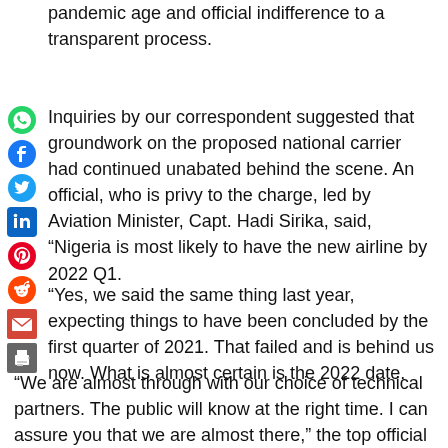pandemic age and official indifference to a transparent process.
Inquiries by our correspondent suggested that groundwork on the proposed national carrier had continued unabated behind the scene. An official, who is privy to the charge, led by Aviation Minister, Capt. Hadi Sirika, said, “Nigeria is most likely to have the new airline by 2022 Q1.
“Yes, we said the same thing last year, expecting things to have been concluded by the first quarter of 2021. That failed and is behind us now. What is almost certain is the 2022 date.
“We are almost through with our choice of technical partners. The public will know at the right time. I can assure you that we are almost there,” the top official said.